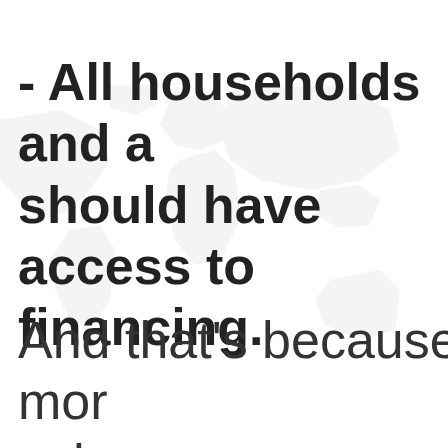- All households and a should have access to financing.
[Figure (map): Faint world map watermark in light gray as background illustration]
And that's because mor spheres:
- The public sector.